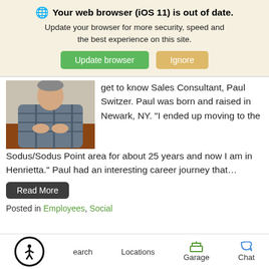Your web browser (iOS 11) is out of date. Update your browser for more security, speed and the best experience on this site.
get to know Sales Consultant, Paul Switzer. Paul was born and raised in Newark, NY. “I ended up moving to the Sodus/Sodus Point area for about 25 years and now I am in Henrietta.” Paul had an interesting career journey that…
[Figure (photo): Photo of Paul Switzer, a man in a plaid shirt seated at a desk with hands clasped]
Read More
Posted in Employees, Social
Search  Locations  Garage  Chat